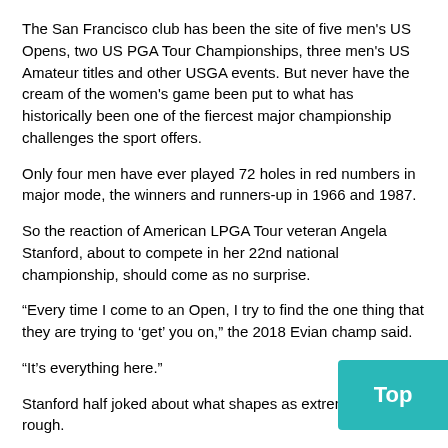The San Francisco club has been the site of five men's US Opens, two US PGA Tour Championships, three men's US Amateur titles and other USGA events. But never have the cream of the women's game been put to what has historically been one of the fiercest major championship challenges the sport offers.
Only four men have ever played 72 holes in red numbers in major mode, the winners and runners-up in 1966 and 1987.
So the reaction of American LPGA Tour veteran Angela Stanford, about to compete in her 22nd national championship, should come as no surprise.
“Every time I come to an Open, I try to find the one thing that they are trying to ‘get’ you on,” the 2018 Evian champ said.
“It’s everything here.”
Stanford half joked about what shapes as extremely penal rough.
“I told the USGA guys that somebody lost the key to the lawnmower. Holy cow!” she said.
Just as most would want it to be, the rough is set up largely the s… a men’s major.
So it should be fascinating to see if that puts a premium on accuracy off the tee this week, because Stanford said she’d be unlikely to get anything more…